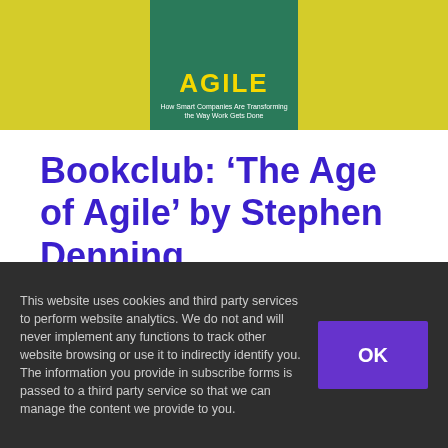[Figure (photo): Book cover of 'The Age of Agile' by Stephen Denning on a yellow background, with teal/green book cover showing the title in yellow letters and subtitle 'How Smart Companies Are Transforming the Way Work Gets Done']
Bookclub: ‘The Age of Agile’ by Stephen Denning
August 31st, 2018
When you visit Amazon's Book Store, or The Book Depository, a simple search on
This website uses cookies and third party services to perform website analytics. We do not and will never implement any functions to track other website browsing or use it to indirectly identify you. The information you provide in subscribe forms is passed to a third party service so that we can manage the content we provide to you.